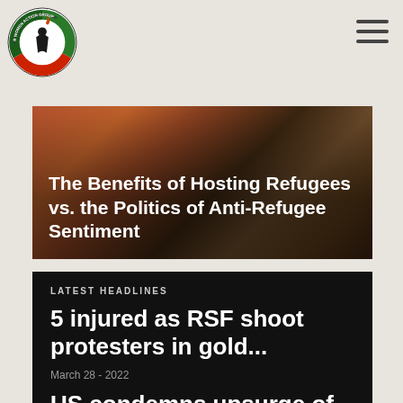[Figure (logo): Darfur Women Action Group circular logo with figure and text around the border]
[Figure (photo): Photo of African women/children in colorful clothing, serving as hero image background]
The Benefits of Hosting Refugees vs. the Politics of Anti-Refugee Sentiment
LATEST HEADLINES
5 injured as RSF shoot protesters in gold...
March 28 - 2022
US condemns upsurge of violence in Darfur and...